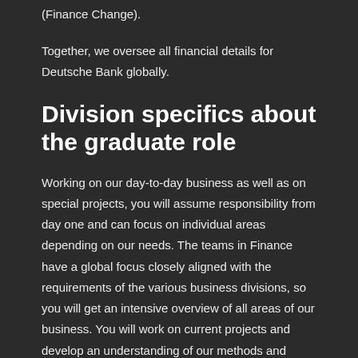(Finance Change).
Together, we oversee all financial details for Deutsche Bank globally.
Division specifics about the graduate role
Working on our day-to-day business as well as on special projects, you will assume responsibility from day one and can focus on individual areas depending on our needs. The teams in Finance have a global focus closely aligned with the requirements of the various business divisions, so you will get an intensive overview of all areas of our business. You will work on current projects and develop an understanding of our methods and systems by carrying out analyses, supporting planning processes and preparing findings for management. You will learn from the best, evolve